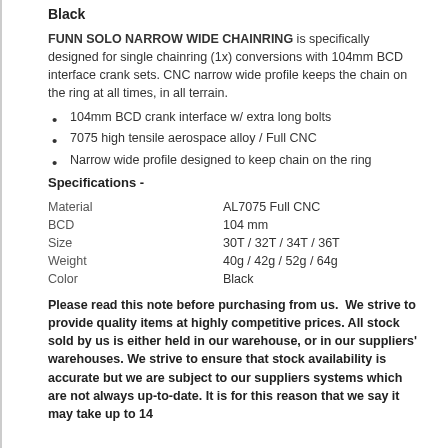Black
FUNN SOLO NARROW WIDE CHAINRING is specifically designed for single chainring (1x) conversions with 104mm BCD interface crank sets. CNC narrow wide profile keeps the chain on the ring at all times, in all terrain.
104mm BCD crank interface w/ extra long bolts
7075 high tensile aerospace alloy / Full CNC
Narrow wide profile designed to keep chain on the ring
Specifications -
| Material | AL7075 Full CNC |
| BCD | 104 mm |
| Size | 30T / 32T / 34T / 36T |
| Weight | 40g / 42g / 52g / 64g |
| Color | Black |
Please read this note before purchasing from us.  We strive to provide quality items at highly competitive prices. All stock sold by us is either held in our warehouse, or in our suppliers' warehouses. We strive to ensure that stock availability is accurate but we are subject to our suppliers systems which are not always up-to-date. It is for this reason that we say it may take up to 14